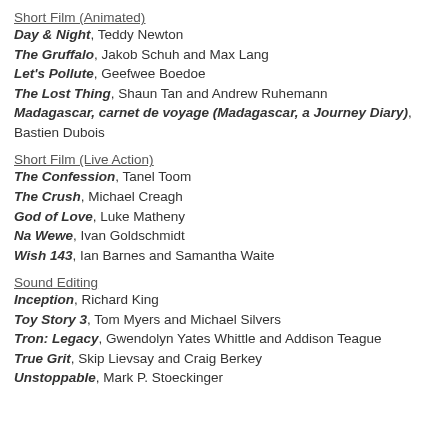Short Film (Animated)
Day & Night, Teddy Newton
The Gruffalo, Jakob Schuh and Max Lang
Let's Pollute, Geefwee Boedoe
The Lost Thing, Shaun Tan and Andrew Ruhemann
Madagascar, carnet de voyage (Madagascar, a Journey Diary), Bastien Dubois
Short Film (Live Action)
The Confession, Tanel Toom
The Crush, Michael Creagh
God of Love, Luke Matheny
Na Wewe, Ivan Goldschmidt
Wish 143, Ian Barnes and Samantha Waite
Sound Editing
Inception, Richard King
Toy Story 3, Tom Myers and Michael Silvers
Tron: Legacy, Gwendolyn Yates Whittle and Addison Teague
True Grit, Skip Lievsay and Craig Berkey
Unstoppable, Mark P. Stoeckinger